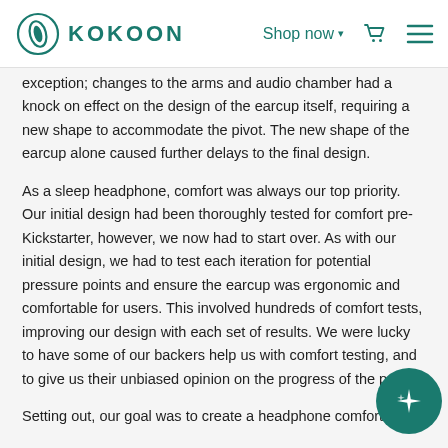KOKOON | Shop now ▾
exception; changes to the arms and audio chamber had a knock on effect on the design of the earcup itself, requiring a new shape to accommodate the pivot. The new shape of the earcup alone caused further delays to the final design.
As a sleep headphone, comfort was always our top priority. Our initial design had been thoroughly tested for comfort pre-Kickstarter, however, we now had to start over. As with our initial design, we had to test each iteration for potential pressure points and ensure the earcup was ergonomic and comfortable for users. This involved hundreds of comfort tests, improving our design with each set of results. We were lucky to have some of our backers help us with comfort testing, and to give us their unbiased opinion on the progress of the produ…
Setting out, our goal was to create a headphone comfortable